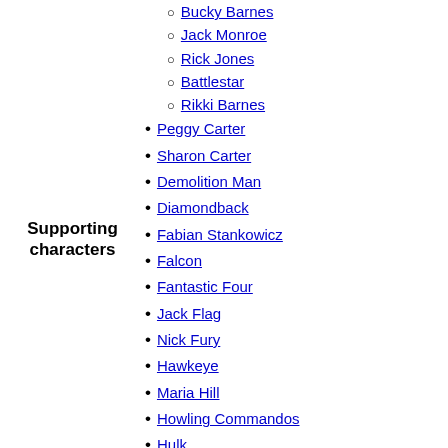Bucky Barnes (sub-item)
Jack Monroe (sub-item)
Rick Jones (sub-item)
Battlestar (sub-item)
Rikki Barnes (sub-item)
Peggy Carter
Sharon Carter
Demolition Man
Diamondback
Fabian Stankowicz
Falcon
Fantastic Four
Jack Flag
Nick Fury
Hawkeye
Maria Hill
Howling Commandos
Hulk
Invaders
Iron Man
Rick Jones
Nomad
Ian Rogers
Spider-Man
Thor
Supporting characters